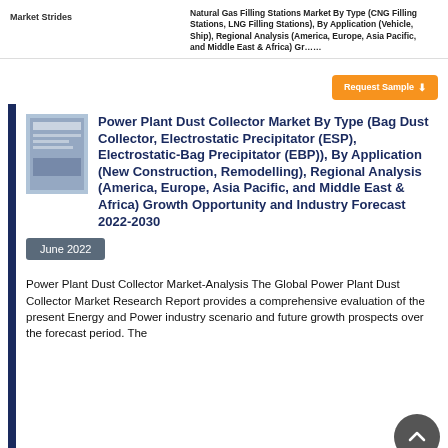Market Strides | Natural Gas Filling Stations Market By Type (CNG Filling Stations, LNG Filling Stations), By Application (Vehicle, Ship), Regional Analysis (America, Europe, Asia Pacific, and Middle East & Africa) Gr……
Power Plant Dust Collector Market By Type (Bag Dust Collector, Electrostatic Precipitator (ESP), Electrostatic-Bag Precipitator (EBP)), By Application (New Construction, Remodelling), Regional Analysis (America, Europe, Asia Pacific, and Middle East & Africa) Growth Opportunity and Industry Forecast 2022-2030
June 2022
Power Plant Dust Collector Market-Analysis The Global Power Plant Dust Collector Market Research Report provides a comprehensive evaluation of the present Energy and Power industry scenario and future growth prospects over the forecast period. The